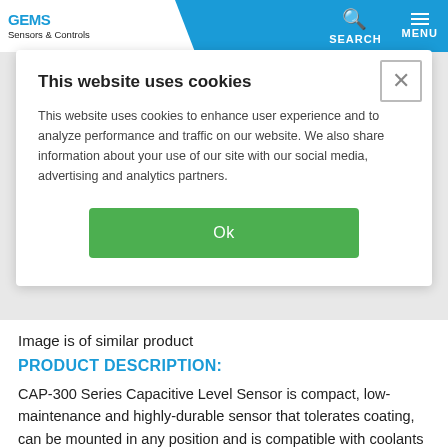Sensors & Controls — SEARCH MENU
This website uses cookies
This website uses cookies to enhance user experience and to analyze performance and traffic on our website. We also share information about your use of our site with our social media, advertising and analytics partners.
Ok
Image is of similar product
PRODUCT DESCRIPTION:
CAP-300 Series Capacitive Level Sensor is compact, low-maintenance and highly-durable sensor that tolerates coating, can be mounted in any position and is compatible with coolants making it the ideal OEM solution for power generation equipment, off-highway vehicles and generators, as well as food & beverage,